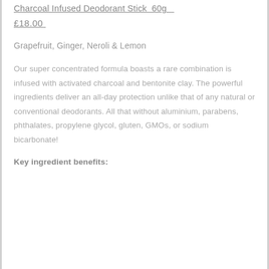Charcoal Infused Deodorant Stick  60g
£18.00
Grapefruit, Ginger, Neroli & Lemon
Our super concentrated formula boasts a rare combination is infused with activated charcoal and bentonite clay. The powerful ingredients deliver an all-day protection unlike that of any natural or conventional deodorants. All that without aluminium, parabens, phthalates, propylene glycol, gluten, GMOs, or sodium bicarbonate!
Key ingredient benefits: